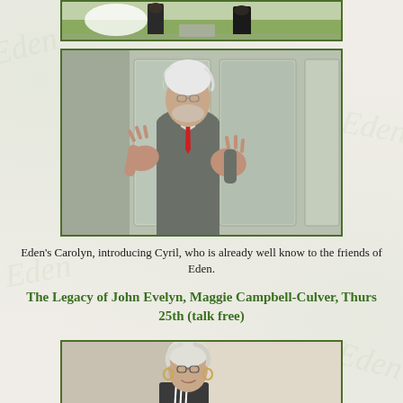[Figure (photo): Partial photo at top showing two people standing, partially cropped]
[Figure (photo): Elderly man with white hair, glasses, grey suit and red tie, gesturing with hands while speaking]
Eden's Carolyn, introducing Cyril, who is already well know to the friends of Eden.
The Legacy of John Evelyn, Maggie Campbell-Culver, Thurs 25th (talk free)
[Figure (photo): Woman with white/grey hair, glasses, dark patterned top, smiling at camera]